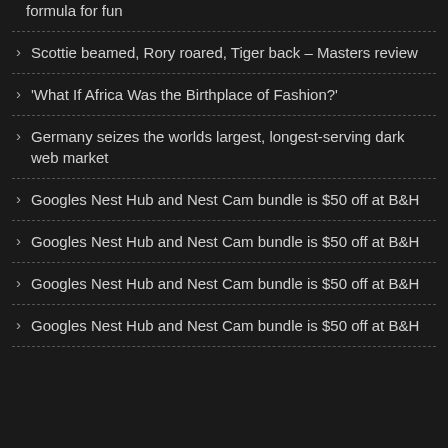formula for fun
Scottie beamed, Rory roared, Tiger back – Masters review
'What If Africa Was the Birthplace of Fashion?'
Germany seizes the worlds largest, longest-serving dark web market
Googles Nest Hub and Nest Cam bundle is $50 off at B&H
Googles Nest Hub and Nest Cam bundle is $50 off at B&H
Googles Nest Hub and Nest Cam bundle is $50 off at B&H
Googles Nest Hub and Nest Cam bundle is $50 off at B&H